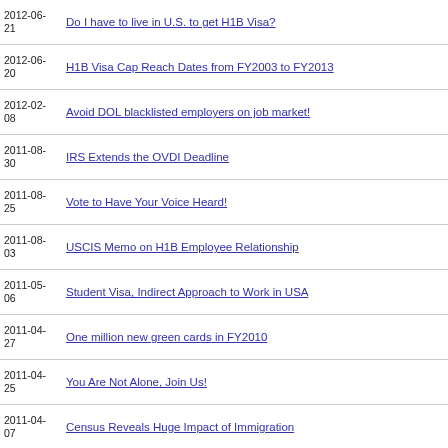2012-06-21 | Do I have to live in U.S. to get H1B Visa?
2012-06-20 | H1B Visa Cap Reach Dates from FY2003 to FY2013
2012-02-08 | Avoid DOL blacklisted employers on job market!
2011-08-30 | IRS Extends the OVDI Deadline
2011-08-25 | Vote to Have Your Voice Heard!
2011-08-03 | USCIS Memo on H1B Employee Relationship
2011-05-06 | Student Visa, Indirect Approach to Work in USA
2011-04-27 | One million new green cards in FY2010
2011-04-25 | You Are Not Alone, Join Us!
2011-04-07 | Census Reveals Huge Impact of Immigration